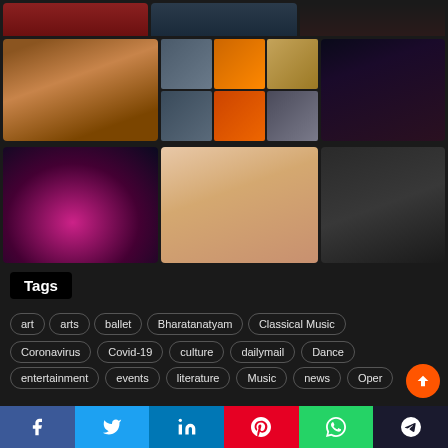[Figure (photo): Grid of photos showing Indian classical dance performances, performers, and group photos on dark background]
Tags
art
arts
ballet
Bharatanatyam
Classical Music
Coronavirus
Covid-19
culture
dailymail
Dance
entertainment
events
literature
Music
news
Oper
Facebook Twitter LinkedIn Pinterest WhatsApp Telegram